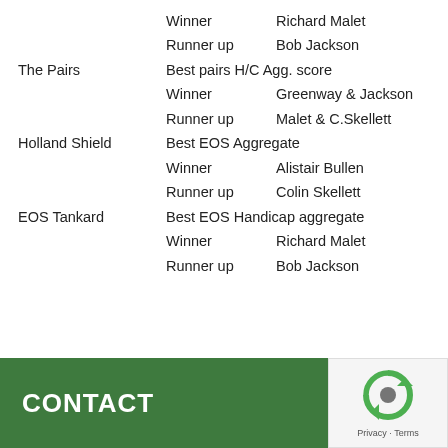Winner   Richard Malet
Runner up   Bob Jackson
The Pairs   Best pairs H/C Agg. score
Winner   Greenway & Jackson
Runner up   Malet & C.Skellett
Holland Shield   Best EOS Aggregate
Winner   Alistair Bullen
Runner up   Colin Skellett
EOS Tankard   Best EOS Handicap aggregate
Winner   Richard Malet
Runner up   Bob Jackson
CONTACT